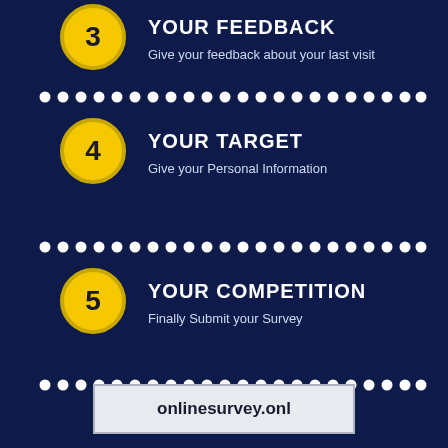[Figure (infographic): Step 3: YOUR FEEDBACK - Give your feedback about your last visit]
[Figure (infographic): Step 4: YOUR TARGET - Give your Personal Information]
[Figure (infographic): Step 5: YOUR COMPETITION - Finally Submit your Survey]
onlinesurvey.onl